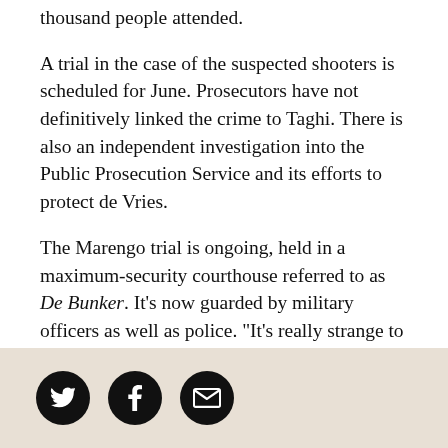thousand people attended.
A trial in the case of the suspected shooters is scheduled for June. Prosecutors have not definitively linked the crime to Taghi. There is also an independent investigation into the Public Prosecution Service and its efforts to protect de Vries.
The Marengo trial is ongoing, held in a maximum-security courthouse referred to as De Bunker. It’s now guarded by military officers as well as police. “It’s really strange to be in this trial and not to meet with [de Vries] anymore,” said Belleman, the De Telegraaf reporter. “Not to see him there with his notebook, his sandwiches he always used to take to the
[Figure (other): Social sharing buttons: Twitter, Facebook, and email icons as circular black buttons on a beige/tan background footer bar.]